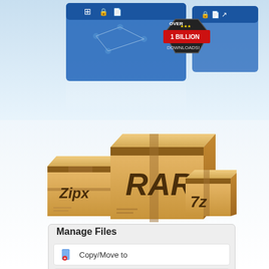[Figure (screenshot): Top portion showing a software app screenshot with blue toolbar icons and a badge reading OVER 1 BILLION DOWNLOADS!]
[Figure (illustration): Three cardboard boxes labeled Zipx, RAR, and 7z representing archive file formats]
Manage Files
Copy/Move to
Rename
(file icon, partial)